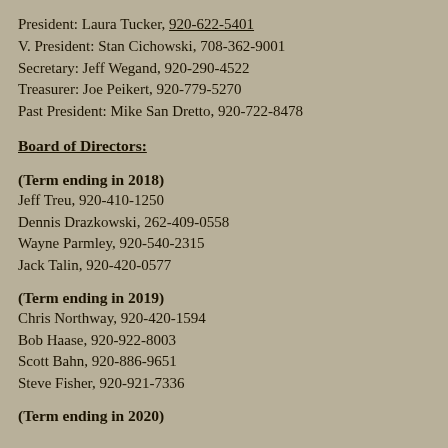President: Laura Tucker,  920-622-5401
V. President: Stan Cichowski, 708-362-9001
Secretary:  Jeff Wegand, 920-290-4522
Treasurer: Joe Peikert, 920-779-5270
Past President:  Mike San Dretto, 920-722-8478
Board of Directors:
(Term ending in 2018)
Jeff Treu,  920-410-1250
Dennis Drazkowski,  262-409-0558
Wayne Parmley, 920-540-2315
Jack Talin,  920-420-0577
(Term ending in 2019)
Chris Northway, 920-420-1594
Bob Haase,  920-922-8003
Scott Bahn,  920-886-9651
Steve Fisher,  920-921-7336
(Term ending in 2020)